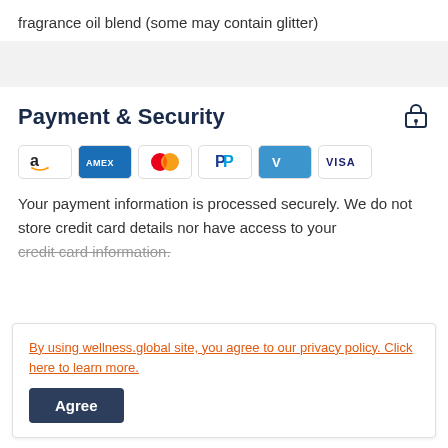fragrance oil blend (some may contain glitter)
Payment & Security
[Figure (infographic): Payment method icons: Amazon Pay, American Express, Mastercard, PayPal, Venmo, Visa]
Your payment information is processed securely. We do not store credit card details nor have access to your credit card information.
By using wellness.global site, you agree to our privacy policy. Click here to learn more.